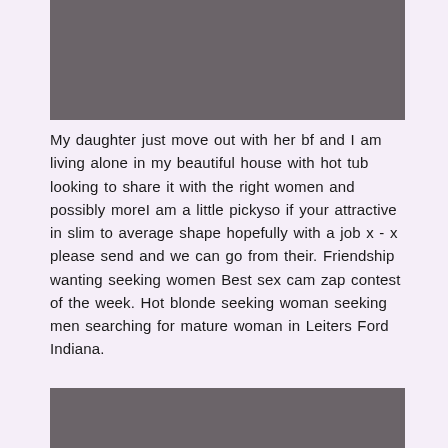[Figure (photo): Gray rectangular image placeholder at top]
My daughter just move out with her bf and I am living alone in my beautiful house with hot tub looking to share it with the right women and possibly moreI am a little pickyso if your attractive in slim to average shape hopefully with a job x - x please send and we can go from their. Friendship wanting seeking women Best sex cam zap contest of the week. Hot blonde seeking woman seeking men searching for mature woman in Leiters Ford Indiana.
[Figure (photo): Gray rectangular image placeholder at bottom]